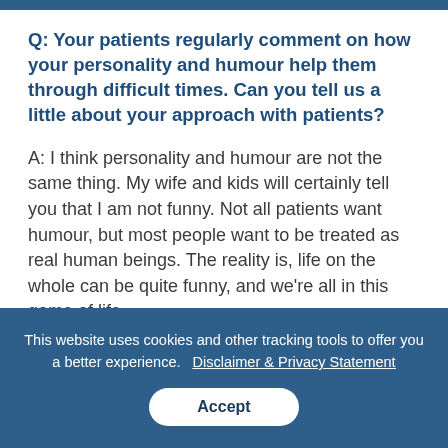Q: Your patients regularly comment on how your personality and humour help them through difficult times. Can you tell us a little about your approach with patients?
A: I think personality and humour are not the same thing. My wife and kids will certainly tell you that I am not funny. Not all patients want humour, but most people want to be treated as real human beings. The reality is, life on the whole can be quite funny, and we're all in this game of life
This website uses cookies and other tracking tools to offer you a better experience.   Disclaimer & Privacy Statement
Accept